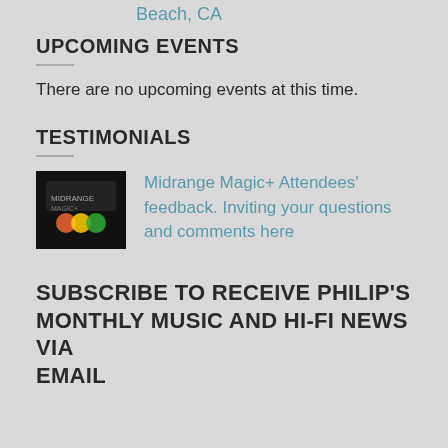Beach, CA
UPCOMING EVENTS
There are no upcoming events at this time.
TESTIMONIALS
Midrange Magic+ Attendees' feedback. Inviting your questions and comments here
SUBSCRIBE TO RECEIVE PHILIP'S MONTHLY MUSIC AND HI-FI NEWS VIA EMAIL